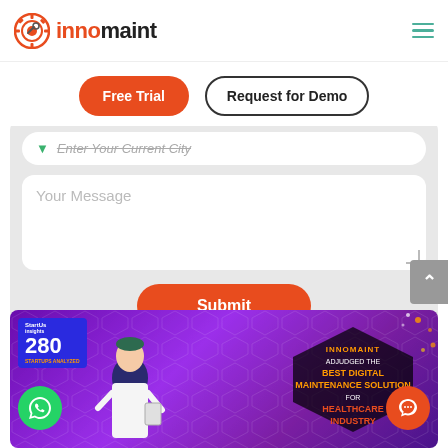[Figure (logo): Innomaint logo with gear icon and brand name in red/black]
Free Trial
Request for Demo
Enter Your Current City
Your Message
Submit
[Figure (infographic): Innomaint banner: adjudged best digital maintenance solution for healthcare industry. StartUs Insights 280 startups analyzed badge. Purple hexagonal background with illustrated professional figure.]